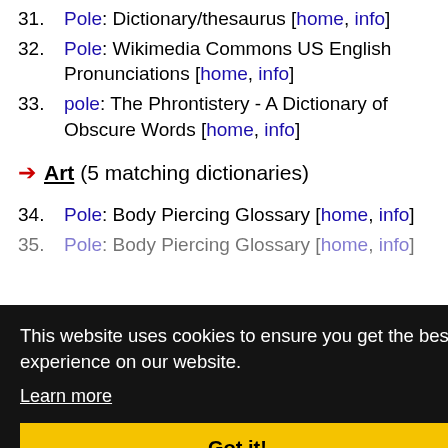31. Pole: Dictionary/thesaurus [home, info]
32. Pole: Wikimedia Commons US English Pronunciations [home, info]
33. pole: The Phrontistery - A Dictionary of Obscure Words [home, info]
Art (5 matching dictionaries)
34. Pole: Body Piercing Glossary [home, info]
35. Pole: Body Piercing Glossary [home, info]
This website uses cookies to ensure you get the best experience on our website.
Learn more
Got it!